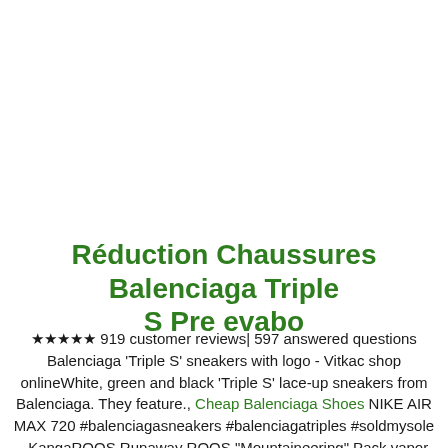Réduction Chaussures Balenciaga Triple S Pre evabo
★★★★★ 919 customer reviews| 597 answered questions Balenciaga 'Triple S' sneakers with logo - Vitkac shop onlineWhite, green and black 'Triple S' lace-up sneakers from Balenciaga. They feature., Cheap Balenciaga Shoes NIKE AIR MAX 720 #balenciagasneakers #balenciagatriples #soldmysole . KangaROOS Runaway ROOS "Mountaineering" Pack vapor grey